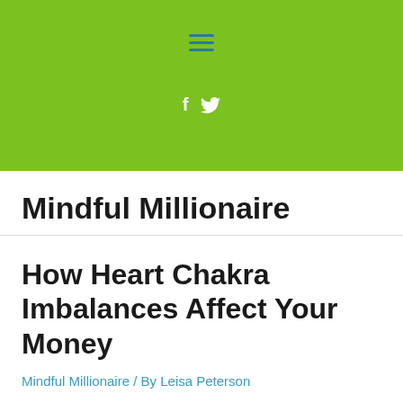[Figure (screenshot): Green header banner with hamburger menu icon and social media icons (Facebook and Twitter) in white]
Mindful Millionaire
How Heart Chakra Imbalances Affect Your Money
Mindful Millionaire / By Leisa Peterson